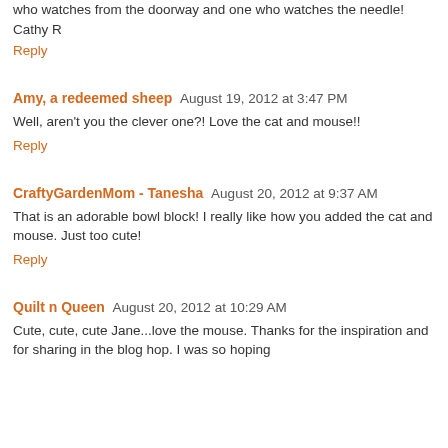who watches from the doorway and one who watches the needle!
Cathy R
Reply
Amy, a redeemed sheep  August 19, 2012 at 3:47 PM
Well, aren't you the clever one?! Love the cat and mouse!!
Reply
CraftyGardenMom - Tanesha  August 20, 2012 at 9:37 AM
That is an adorable bowl block! I really like how you added the cat and mouse. Just too cute!
Reply
Quilt n Queen  August 20, 2012 at 10:29 AM
Cute, cute, cute Jane...love the mouse. Thanks for the inspiration and for sharing in the blog hop. I was so hoping